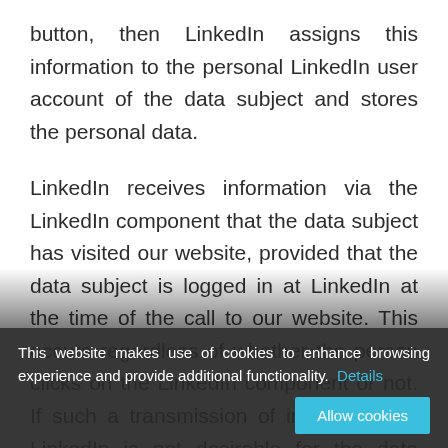button, then LinkedIn assigns this information to the personal LinkedIn user account of the data subject and stores the personal data.

LinkedIn receives information via the LinkedIn component that the data subject has visited our website, provided that the data subject is logged in at LinkedIn at the time of the call to our website. This occurs regardless of whether the person clicks on the LinkedIn component or not. If such a transmission of information to LinkedIn is not desirable for the data subject, then he or she can prevent this by logging off from their LinkedIn account before a call-up to our
This website makes use of cookies to enhance browsing experience and provide additional functionality.  Details   Allow cookies